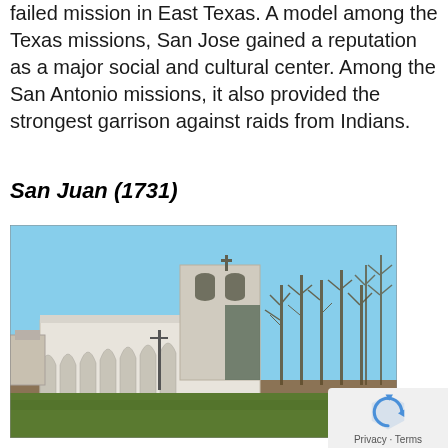failed mission in East Texas. A model among the Texas missions, San Jose gained a reputation as a major social and cultural center. Among the San Antonio missions, it also provided the strongest garrison against raids from Indians.
San Juan (1731)
[Figure (photo): Photograph of Mission San Juan in San Antonio, Texas. Shows a white stone church building with a bell tower, arched buttresses along the front wall, and bare trees in the background under a blue sky.]
Privacy · Terms